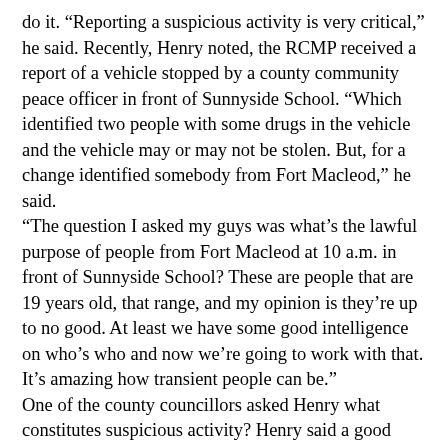do it. “Reporting a suspicious activity is very critical,” he said. Recently, Henry noted, the RCMP received a report of a vehicle stopped by a county community peace officer in front of Sunnyside School. “Which identified two people with some drugs in the vehicle and the vehicle may or may not be stolen. But, for a change identified somebody from Fort Macleod,” he said. “The question I asked my guys was what’s the lawful purpose of people from Fort Macleod at 10 a.m. in front of Sunnyside School? These are people that are 19 years old, that range, and my opinion is they’re up to no good. At least we have some good intelligence on who’s who and now we’re going to work with that. It’s amazing how transient people can be.” One of the county councillors asked Henry what constitutes suspicious activity? Henry said a good analogy is rural residents know their area and know what is right or wrong. “If we get a bomb threat in a school, we actually grab one of the staff members and say let’s go for a walk because this is their school and they know what’s wrong or what’s right or different and whose lunch box is whose-type of thing. That’s really a judgment call you guys have to make. You should know your neighbours fairly well. You know what vehicle should be there.